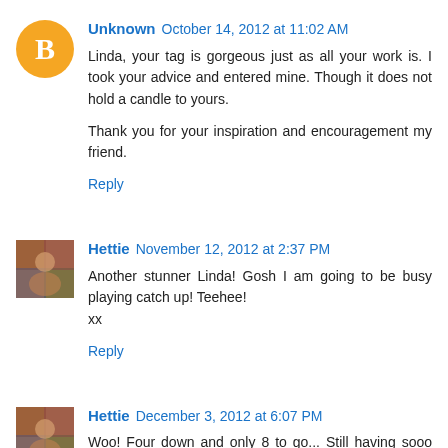Unknown  October 14, 2012 at 11:02 AM
Linda, your tag is gorgeous just as all your work is. I took your advice and entered mine. Though it does not hold a candle to yours.

Thank you for your inspiration and encouragement my friend.
Reply
Hettie  November 12, 2012 at 2:37 PM
Another stunner Linda! Gosh I am going to be busy playing catch up! Teehee!
xx
Reply
Hettie  December 3, 2012 at 6:07 PM
Woo! Four down and only 8 to go... Still having sooo much